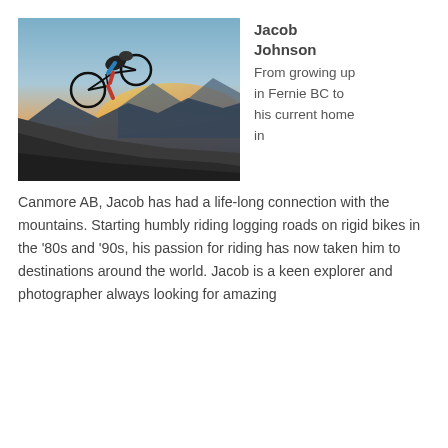[Figure (photo): Mountain biker riding down a steep rocky slope at sunset with mountains and orange/purple sky in the background]
Jacob Johnson
From growing up in Fernie BC to his current home in Canmore AB, Jacob has had a life-long connection with the mountains. Starting humbly riding logging roads on rigid bikes in the ’80s and ’90s, his passion for riding has now taken him to destinations around the world. Jacob is a keen explorer and photographer always looking for amazing
From growing up in Fernie BC to his current home in